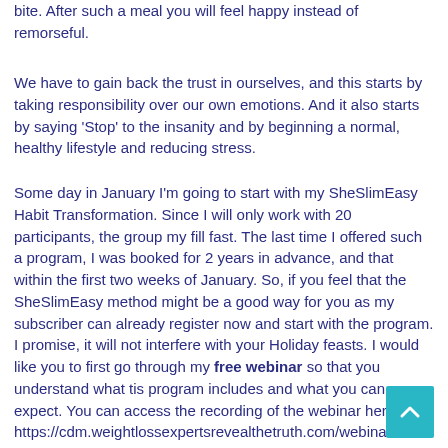bite. After such a meal you will feel happy instead of remorseful.
We have to gain back the trust in ourselves, and this starts by taking responsibility over our own emotions. And it also starts by saying 'Stop' to the insanity and by beginning a normal, healthy lifestyle and reducing stress.
Some day in January I'm going to start with my SheSlimEasy Habit Transformation. Since I will only work with 20 participants, the group my fill fast. The last time I offered such a program, I was booked for 2 years in advance, and that within the first two weeks of January. So, if you feel that the SheSlimEasy method might be a good way for you as my subscriber can already register now and start with the program. I promise, it will not interfere with your Holiday feasts. I would like you to first go through my free webinar so that you understand what tis program includes and what you can expect. You can access the recording of the webinar here: https://cdm.weightlossexpertsrevealthetruth.com/webinar-weightloss-registration.